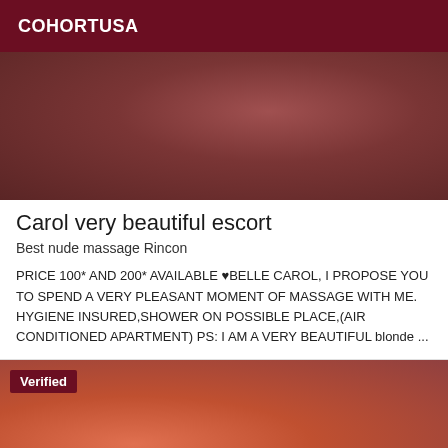COHORTUSA
[Figure (photo): Close-up photo of a person's back/shoulder area with reddish-brown tones]
Carol very beautiful escort
Best nude massage Rincon
PRICE 100* AND 200* AVAILABLE ♥BELLE CAROL, I PROPOSE YOU TO SPEND A VERY PLEASANT MOMENT OF MASSAGE WITH ME. HYGIENE INSURED,SHOWER ON POSSIBLE PLACE,(AIR CONDITIONED APARTMENT) PS: I AM A VERY BEAUTIFUL blonde ...
[Figure (photo): Close-up photo showing legs in orange/red fishnet stockings with dark background elements, with a 'Verified' badge overlay]